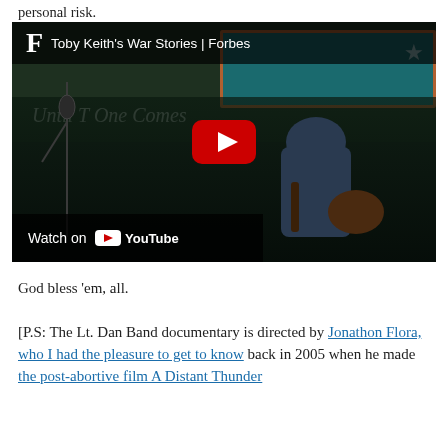personal risk.
[Figure (screenshot): Embedded YouTube video thumbnail showing Toby Keith's War Stories | Forbes. A performer playing guitar on a dark stage with a teal banner behind reading 'Until One Comes'. Forbes 'F' logo and video title in top bar. YouTube play button overlay in center. 'Watch on YouTube' button in bottom-left corner.]
God bless 'em, all.
[P.S: The Lt. Dan Band documentary is directed by Jonathon Flora, who I had the pleasure to get to know back in 2005 when he made the post-abortive film A Distant Thunder